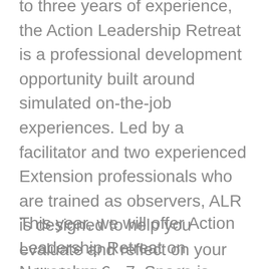to three years of experience, the Action Leadership Retreat is a professional development opportunity built around simulated on-the-job experiences. Led by a facilitator and two experienced Extension professionals who are trained as observers, ALR is designed to help you evaluate and reflect on your skills in 12 key areas (e.g., conflict management, communication, and interpersonal skills) that are important for success as an Extension professional.
This year, we will offer Action Leadership Retreat on November 6 - 7. Space is limited